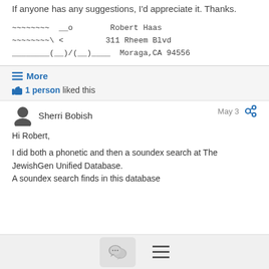If anyone has any suggestions, I'd appreciate it. Thanks.
~~~~~~~~  __o        Robert Haas
~~~~~~~~\ <         311 Rheem Blvd
________(  )/(  )____  Moraga,CA 94556
≡ More
👍 1 person liked this
Sherri Bobish — May 3
Hi Robert,

I did both a phonetic and then a soundex search at The JewishGen Unified Database.
A soundex search finds in this database